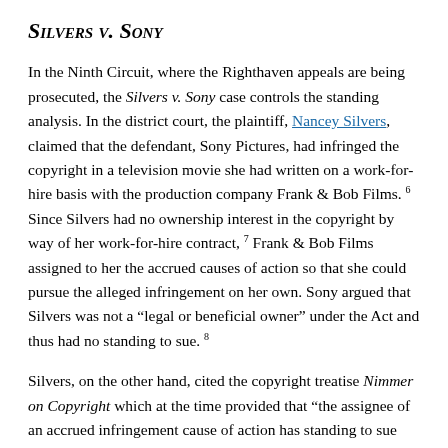Silvers v. Sony
In the Ninth Circuit, where the Righthaven appeals are being prosecuted, the Silvers v. Sony case controls the standing analysis. In the district court, the plaintiff, Nancey Silvers, claimed that the defendant, Sony Pictures, had infringed the copyright in a television movie she had written on a work-for-hire basis with the production company Frank & Bob Films. 6 Since Silvers had no ownership interest in the copyright by way of her work-for-hire contract, 7 Frank & Bob Films assigned to her the accrued causes of action so that she could pursue the alleged infringement on her own. Sony argued that Silvers was not a “legal or beneficial owner” under the Act and thus had no standing to sue. 8
Silvers, on the other hand, cited the copyright treatise Nimmer on Copyright which at the time provided that “the assignee of an accrued infringement cause of action has standing to sue without the need to join his assignor, even if the latter retains ownership of all other rights under the copyright.” 9 The district court, citing